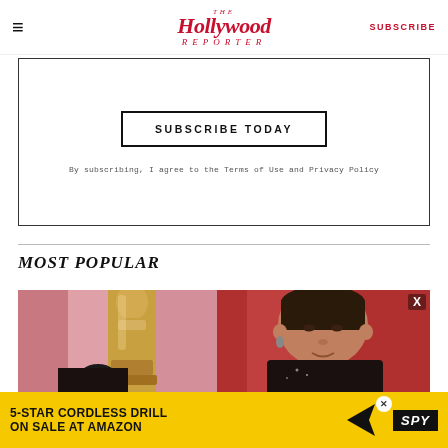The Hollywood Reporter | SUBSCRIBE
SUBSCRIBE TODAY
By subscribing, I agree to the Terms of Use and Privacy Policy
MOST POPULAR
[Figure (photo): Split image: left shows a gold Oscar statue with a woman in a dark dress partially visible; right shows a Native American woman with dark hair pulled back, wearing earrings, against a red background]
[Figure (other): Advertisement banner: 5-STAR CORDLESS DRILL ON SALE AT AMAZON with SPY logo on yellow background]